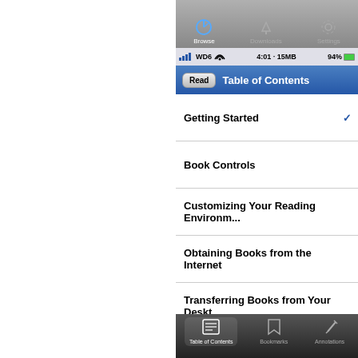[Figure (screenshot): iOS app screenshot showing a Table of Contents screen with toolbar at top (Browse, Downloads, Settings), status bar showing WD6, 4:01, 15MB, 94% battery, navigation bar with Read button and Table of Contents title, list items: Getting Started (with checkmark), Book Controls, Customizing Your Reading Environm..., Obtaining Books from the Internet, Transferring Books from Your Deskt..., Editing Book Details (with red annotation /w using the), Further Information, and bottom tab bar with Table of Contents, Bookmarks, Annotations tabs.]